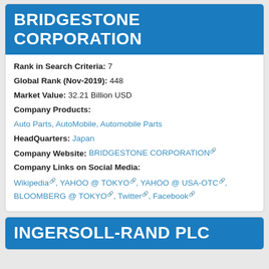BRIDGESTONE CORPORATION
Rank in Search Criteria: 7
Global Rank (Nov-2019): 448
Market Value: 32.21 Billion USD
Company Products:
Auto Parts, AutoMobile, Automobile Parts
HeadQuarters: Japan
Company Website: BRIDGESTONE CORPORATION
Company Links on Social Media:
Wikipedia, YAHOO @ TOKYO, YAHOO @ USA-OTC, BLOOMBERG @ TOKYO, Twitter, Facebook
INGERSOLL-RAND PLC